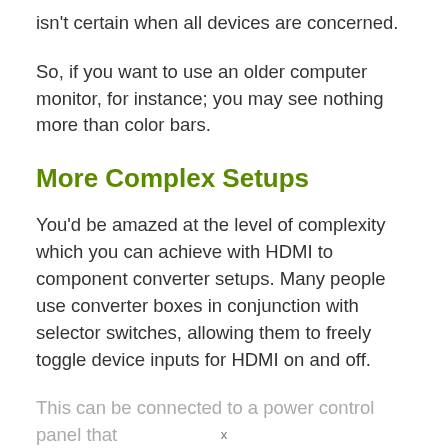isn't certain when all devices are concerned.
So, if you want to use an older computer monitor, for instance; you may see nothing more than color bars.
More Complex Setups
You'd be amazed at the level of complexity which you can achieve with HDMI to component converter setups. Many people use converter boxes in conjunction with selector switches, allowing them to freely toggle device inputs for HDMI on and off.
This can be connected to a power control panel that
x